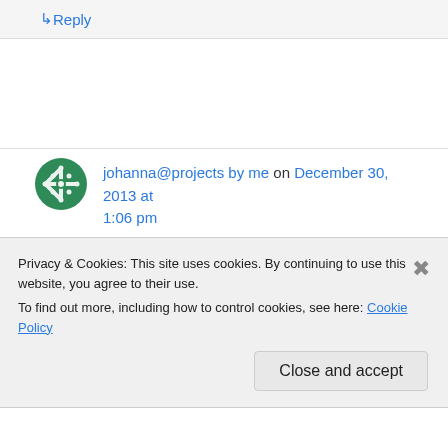↳ Reply
johanna@projects by me on December 30, 2013 at 1:06 pm
You. Are. A. Sewing. Goddess!!!
Good luck on finding a new job and I hope that you and your family will have your health next
Privacy & Cookies: This site uses cookies. By continuing to use this website, you agree to their use.
To find out more, including how to control cookies, see here: Cookie Policy
Close and accept